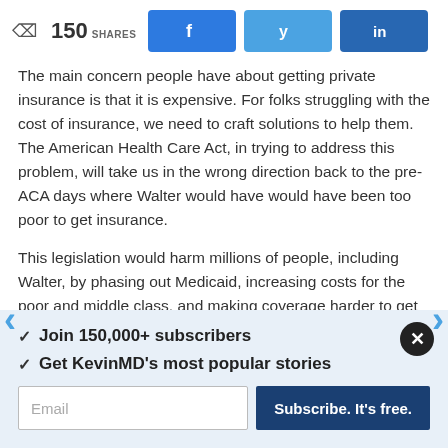150 SHARES | Facebook | Twitter | LinkedIn
The main concern people have about getting private insurance is that it is expensive. For folks struggling with the cost of insurance, we need to craft solutions to help them. The American Health Care Act, in trying to address this problem, will take us in the wrong direction back to the pre-ACA days where Walter would have would have been too poor to get insurance.
This legislation would harm millions of people, including Walter, by phasing out Medicaid, increasing costs for the poor and middle class, and making coverage harder to get for the sick. In return, coverage would become more affordable for
✓ Join 150,000+ subscribers
✓ Get KevinMD's most popular stories
Email | Subscribe. It's free.